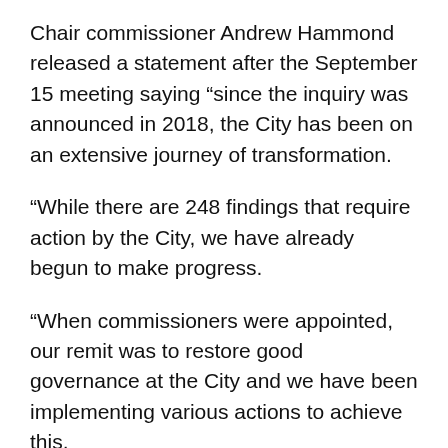Chair commissioner Andrew Hammond released a statement after the September 15 meeting saying “since the inquiry was announced in 2018, the City has been on an extensive journey of transformation.
“While there are 248 findings that require action by the City, we have already begun to make progress.
“When commissioners were appointed, our remit was to restore good governance at the City and we have been implementing various actions to achieve this.
“When elected members join in October, they can continue this work and rebuild community trust.”
Around $200,000 is needed to implement additional actions, including appointing specialists, training new councillors, coaching mayors, and reviewing the